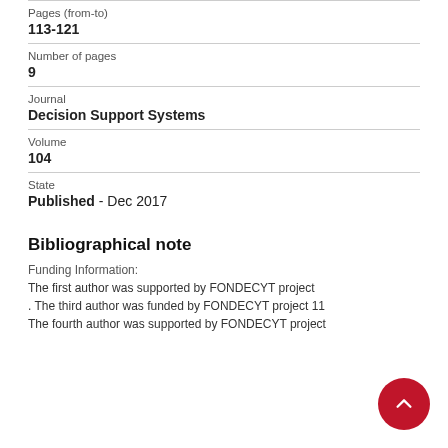Pages (from-to)
113-121
Number of pages
9
Journal
Decision Support Systems
Volume
104
State
Published - Dec 2017
Bibliographical note
Funding Information:
The first author was supported by FONDECYT project
. The third author was funded by FONDECYT project 11
The fourth author was supported by FONDECYT project
1141234. This research was partially funded by the G...